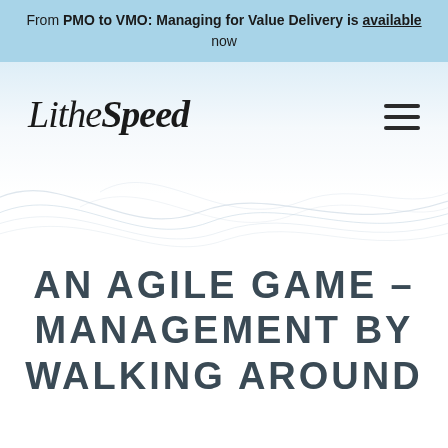From PMO to VMO: Managing for Value Delivery is available now
[Figure (logo): LitheSpeed logo in italic serif font]
AN AGILE GAME - MANAGEMENT BY WALKING AROUND